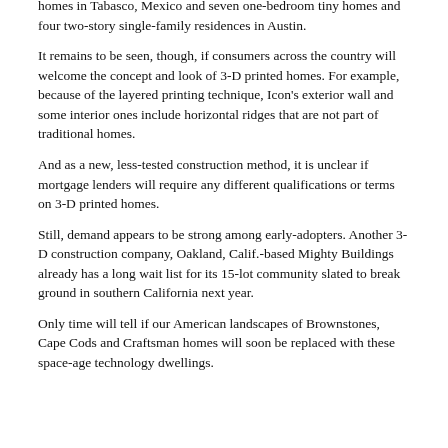homes in Tabasco, Mexico and seven one-bedroom tiny homes and four two-story single-family residences in Austin.
It remains to be seen, though, if consumers across the country will welcome the concept and look of 3-D printed homes. For example, because of the layered printing technique, Icon's exterior wall and some interior ones include horizontal ridges that are not part of traditional homes.
And as a new, less-tested construction method, it is unclear if mortgage lenders will require any different qualifications or terms on 3-D printed homes.
Still, demand appears to be strong among early-adopters. Another 3-D construction company, Oakland, Calif.-based Mighty Buildings already has a long wait list for its 15-lot community slated to break ground in southern California next year.
Only time will tell if our American landscapes of Brownstones, Cape Cods and Craftsman homes will soon be replaced with these space-age technology dwellings.